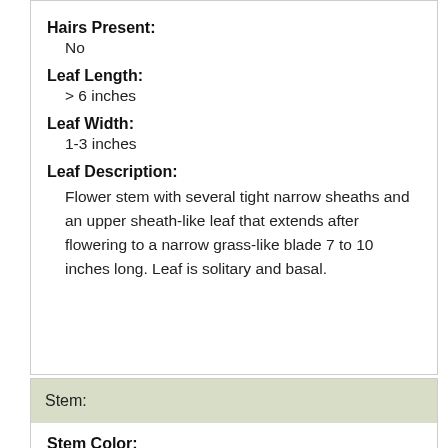Hairs Present:
No
Leaf Length:
> 6 inches
Leaf Width:
1-3 inches
Leaf Description:
Flower stem with several tight narrow sheaths and an upper sheath-like leaf that extends after flowering to a narrow grass-like blade 7 to 10 inches long. Leaf is solitary and basal.
Stem:
Stem Color:
Green
Stem Is Aromatic: